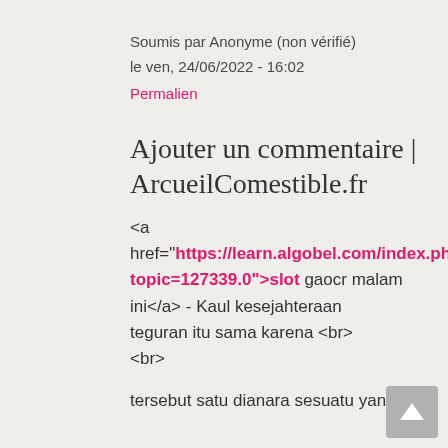Soumis par Anonyme (non vérifié)
le ven, 24/06/2022 - 16:02
Permalien
Ajouter un commentaire | ArcueilComestible.fr
<a href="https://learn.algobel.com/index.php?topic=127339.0">slot gaocr malam ini</a> - Kaul kesejahteraan teguran itu sama karena <br> <br>
tersebut satu dianara sesuatu yang